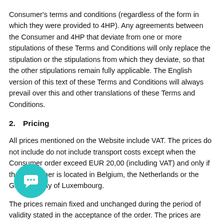Consumer's terms and conditions (regardless of the form in which they were provided to 4HP). Any agreements between the Consumer and 4HP that deviate from one or more stipulations of these Terms and Conditions will only replace the stipulation or the stipulations from which they deviate, so that the other stipulations remain fully applicable. The English version of this text of these Terms and Conditions will always prevail over this and other translations of these Terms and Conditions.
2.   Pricing
All prices mentioned on the Website include VAT. The prices do not include do not include transport costs except when the Consumer order exceed EUR 20,00 (including VAT) and only if the Consumer is located in Belgium, the Netherlands or the Grand Duchy of Luxembourg.
The prices remain fixed and unchanged during the period of validity stated in the acceptance of the order. The prices are
[Figure (illustration): Teal circular chat/messaging button with a white speech bubble icon]